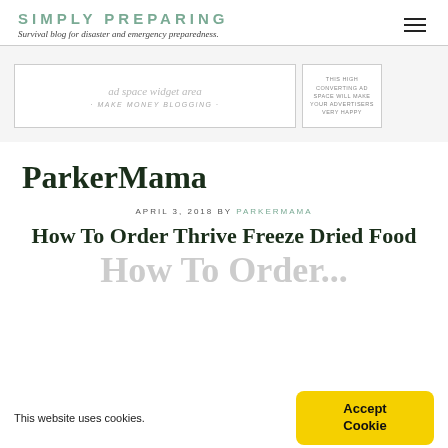SIMPLY PREPARING
Survival blog for disaster and emergency preparedness.
[Figure (screenshot): Ad space widget area banner with text 'ad space widget area - MAKE MONEY BLOGGING -' and a smaller ad box reading 'THIS HIGH CONVERTING AD SPACE WILL MAKE YOUR ADVERTISERS VERY HAPPY']
ParkerMama
APRIL 3, 2018 BY PARKERMAMA
How To Order Thrive Freeze Dried Food
This website uses cookies.
Accept Cookie